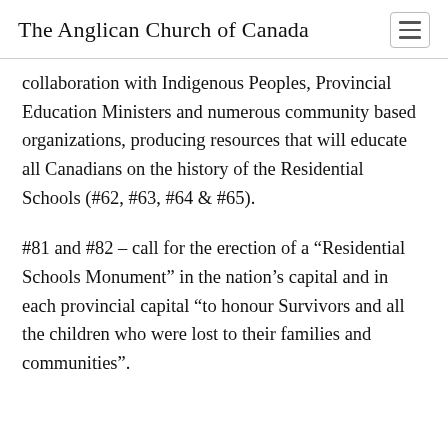The Anglican Church of Canada
collaboration with Indigenous Peoples, Provincial Education Ministers and numerous community based organizations, producing resources that will educate all Canadians on the history of the Residential Schools (#62, #63, #64 & #65).
#81 and #82 – call for the erection of a “Residential Schools Monument” in the nation’s capital and in each provincial capital “to honour Survivors and all the children who were lost to their families and communities”.